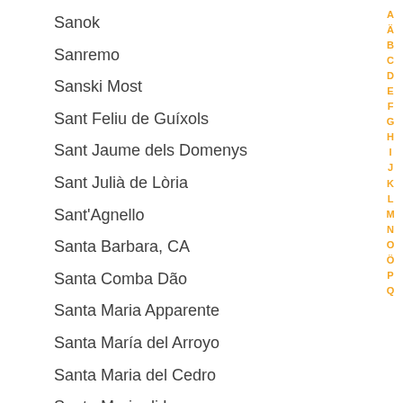Sanok
Sanremo
Sanski Most
Sant Feliu de Guíxols
Sant Jaume dels Domenys
Sant Julià de Lòria
Sant'Agnello
Santa Barbara, CA
Santa Comba Dão
Santa Maria Apparente
Santa María del Arroyo
Santa Maria del Cedro
Santa Maria di Leuca
Santa Maria, CA
Santa Paula, CA